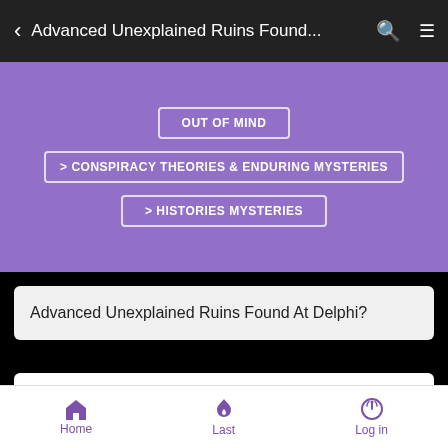Advanced Unexplained Ruins Found...
OUT OF MIND
> CONSPIRACY THEORIES & ENDURING MYSTERIES
> HISTORIES MYSTERIES
Advanced Unexplained Ruins Found At Delphi?
Sat Jun 16, 2018 10:11 am
by PurpleSkyz
Home   Last   Log in